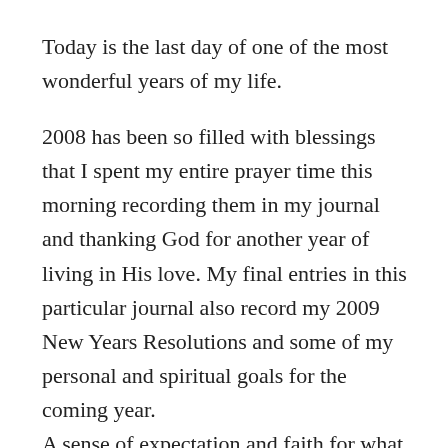Today is the last day of one of the most wonderful years of my life.
2008 has been so filled with blessings that I spent my entire prayer time this morning recording them in my journal and thanking God for another year of living in His love. My final entries in this particular journal also record my 2009 New Years Resolutions and some of my personal and spiritual goals for the coming year.
A sense of expectation and faith for what God has planned for the next year of this amazing journey called life fills my heart.